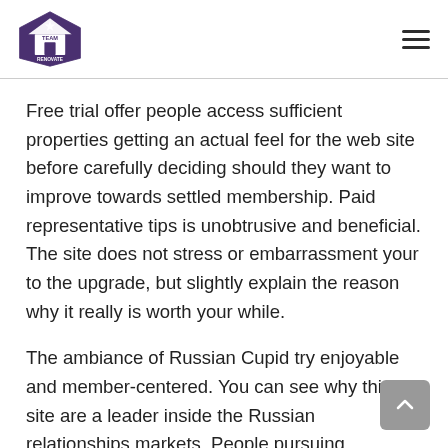Team Renovate
Free trial offer people access sufficient properties getting an actual feel for the web site before carefully deciding should they want to improve towards settled membership. Paid representative tips is unobtrusive and beneficial. The site does not stress or embarrassment your to the upgrade, but slightly explain the reason why it really is worth your while.
The ambiance of Russian Cupid try enjoyable and member-centered. You can see why this site are a leader inside the Russian relationships markets. People pursuing company in Russia possess a location on this site. The dozens of heart-warming